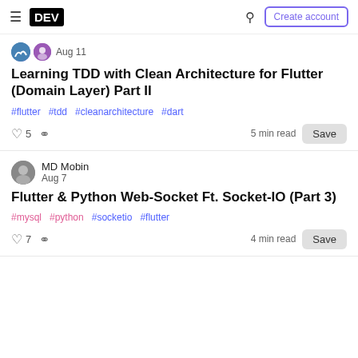DEV Community header with hamburger menu, DEV logo, search icon, Create account button
Aug 11
Learning TDD with Clean Architecture for Flutter (Domain Layer) Part II
#flutter #tdd #cleanarchitecture #dart
5  5 min read  Save
MD Mobin  Aug 7
Flutter & Python Web-Socket Ft. Socket-IO (Part 3)
#mysql #python #socketio #flutter
7  4 min read  Save